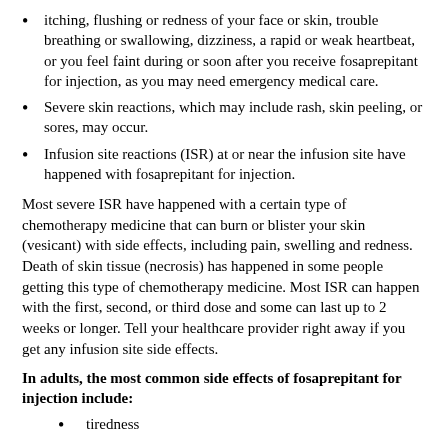itching, flushing or redness of your face or skin, trouble breathing or swallowing, dizziness, a rapid or weak heartbeat, or you feel faint during or soon after you receive fosaprepitant for injection, as you may need emergency medical care.
Severe skin reactions, which may include rash, skin peeling, or sores, may occur.
Infusion site reactions (ISR) at or near the infusion site have happened with fosaprepitant for injection.
Most severe ISR have happened with a certain type of chemotherapy medicine that can burn or blister your skin (vesicant) with side effects, including pain, swelling and redness. Death of skin tissue (necrosis) has happened in some people getting this type of chemotherapy medicine. Most ISR can happen with the first, second, or third dose and some can last up to 2 weeks or longer. Tell your healthcare provider right away if you get any infusion site side effects.
In adults, the most common side effects of fosaprepitant for injection include:
tiredness
diarrhea
low white blood cell and red blood cell counts